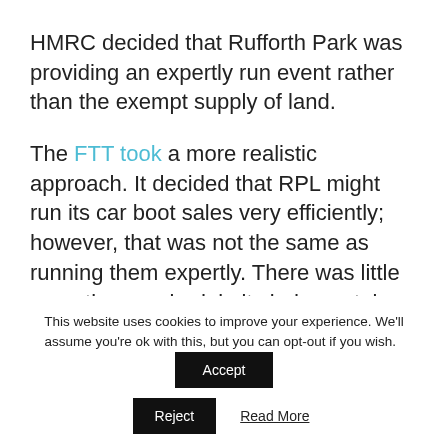HMRC decided that Rufforth Park was providing an expertly run event rather than the exempt supply of land.
The FTT took a more realistic approach. It decided that RPL might run its car boot sales very efficiently; however, that was not the same as running them expertly. There was little expertise required, in its judgment, in directing sellers who turned up on the day to a particular pitch.
This website uses cookies to improve your experience. We'll assume you're ok with this, but you can opt-out if you wish. Accept Reject Read More